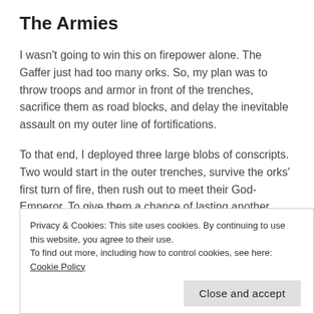The Armies
I wasn't going to win this on firepower alone. The Gaffer just had too many orks. So, my plan was to throw troops and armor in front of the trenches, sacrifice them as road blocks, and delay the inevitable assault on my outer line of fortifications.
To that end, I deployed three large blobs of conscripts. Two would start in the outer trenches, survive the orks' first turn of fire, then rush out to meet their God-Emperor. To give them a chance of lasting another turn, I gave each a Commissar and a Ministorum Priest. (The third conscripts deployed
Privacy & Cookies: This site uses cookies. By continuing to use this website, you agree to their use.
To find out more, including how to control cookies, see here: Cookie Policy
regular guardsmen—well equipped with heavy